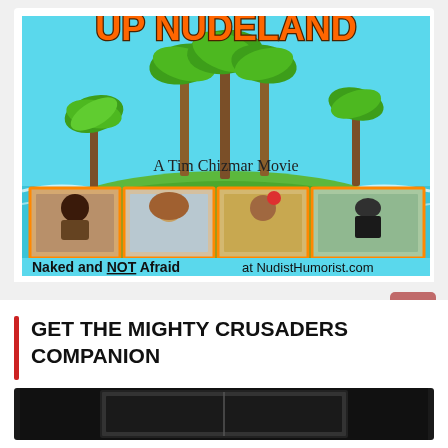[Figure (photo): Movie advertisement for a Tim Chizmar Movie titled 'Up Nudeland'. Shows a tropical island scene with palm trees, ocean, cartoon graphics on top, and four photo portraits of actors below. Text reads 'Naked and NOT Afraid at NudistHumorist.com']
GET THE MIGHTY CRUSADERS COMPANION
[Figure (photo): Partial image of a book with black cover, bottom portion visible]